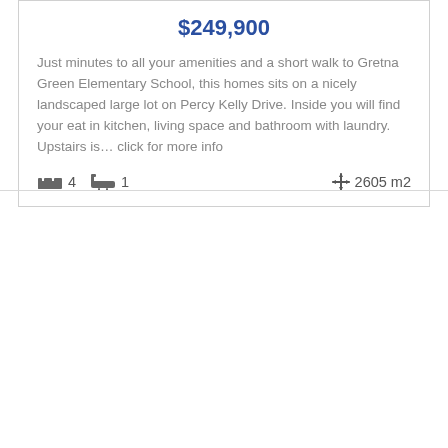$249,900
Just minutes to all your amenities and a short walk to Gretna Green Elementary School, this homes sits on a nicely landscaped large lot on Percy Kelly Drive. Inside you will find your eat in kitchen, living space and bathroom with laundry. Upstairs is… click for more info
4 bedrooms · 1 bathroom · 2605 m2